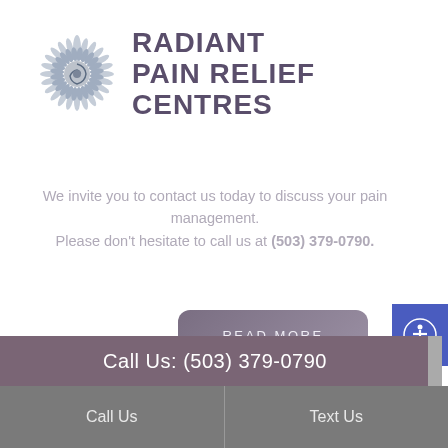[Figure (logo): Radiant Pain Relief Centres logo with sunburst/spiral graphic and bold text]
We invite you to contact us today to discuss your pain management. Please don't hesitate to call us at (503) 379-0790.
READ MORE
Call Us: (503) 379-0790
Call Us
Text Us